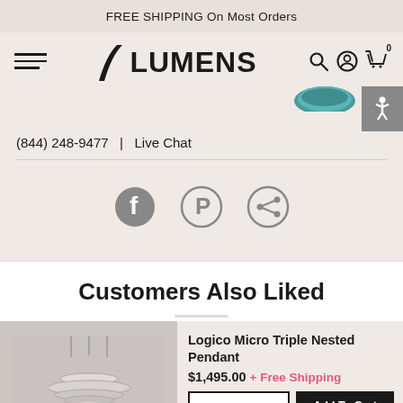FREE SHIPPING On Most Orders
[Figure (logo): Lumens lighting store logo with hamburger menu, search, account, and cart icons]
(844) 248-9477  |  Live Chat
[Figure (illustration): Social sharing icons: Facebook, Pinterest, Share]
Customers Also Liked
[Figure (photo): Logico Micro Triple Nested Pendant light product photo]
Logico Micro Triple Nested Pendant
$1,495.00 + Free Shipping